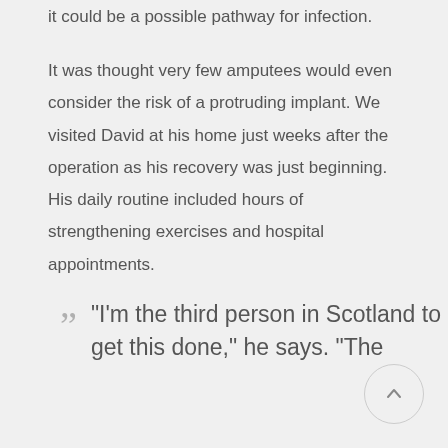it could be a possible pathway for infection.
It was thought very few amputees would even consider the risk of a protruding implant. We visited David at his home just weeks after the operation as his recovery was just beginning. His daily routine included hours of strengthening exercises and hospital appointments.
"I'm the third person in Scotland to get this done," he says. "The